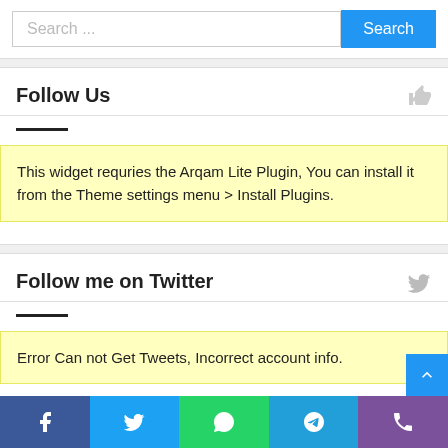[Figure (screenshot): Search input field with placeholder 'Search ...' and a blue Search button]
Follow Us
This widget requries the Arqam Lite Plugin, You can install it from the Theme settings menu > Install Plugins.
Follow me on Twitter
Error Can not Get Tweets, Incorrect account info.
[Figure (infographic): Social media footer bar with Facebook, Twitter, WhatsApp, Telegram, and phone icons]